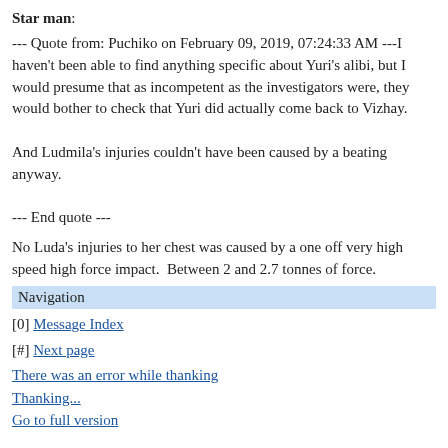Star man:
--- Quote from: Puchiko on February 09, 2019, 07:24:33 AM ---I haven't been able to find anything specific about Yuri's alibi, but I would presume that as incompetent as the investigators were, they would bother to check that Yuri did actually come back to Vizhay.

And Ludmila's injuries couldn't have been caused by a beating anyway.

--- End quote ---
No Luda's injuries to her chest was caused by a one off very high speed high force impact.  Between 2 and 2.7 tonnes of force.
Navigation
[0] Message Index
[#] Next page
There was an error while thanking
Thanking...
Go to full version